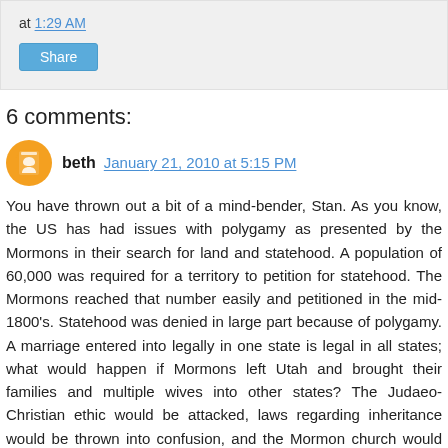at 1:29 AM
Share
6 comments:
beth  January 21, 2010 at 5:15 PM
You have thrown out a bit of a mind-bender, Stan. As you know, the US has had issues with polygamy as presented by the Mormons in their search for land and statehood. A population of 60,000 was required for a territory to petition for statehood. The Mormons reached that number easily and petitioned in the mid-1800's. Statehood was denied in large part because of polygamy. A marriage entered into legally in one state is legal in all states; what would happen if Mormons left Utah and brought their families and multiple wives into other states? The Judaeo-Christian ethic would be attacked, laws regarding inheritance would be thrown into confusion, and the Mormon church would have a very